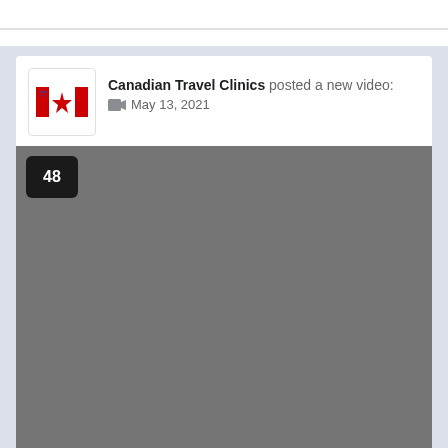Canadian Travel Clinics posted a new video: 🎬 May 13, 2021
[Figure (screenshot): Video thumbnail placeholder — dark grey rectangle with number badge '48' in top-left corner]